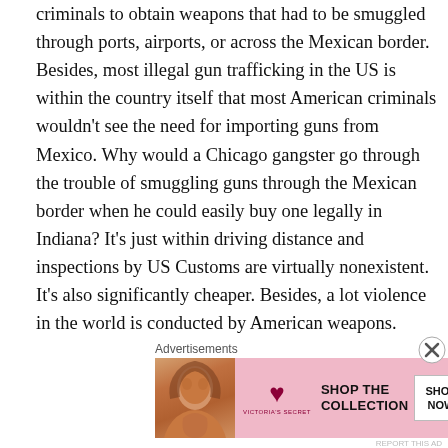criminals to obtain weapons that had to be smuggled through ports, airports, or across the Mexican border. Besides, most illegal gun trafficking in the US is within the country itself that most American criminals wouldn't see the need for importing guns from Mexico. Why would a Chicago gangster go through the trouble of smuggling guns through the Mexican border when he could easily buy one legally in Indiana? It's just within driving distance and inspections by US Customs are virtually nonexistent. It's also significantly cheaper. Besides, a lot violence in the world is conducted by American weapons. Seriously, think of all the guns the US has sold to the Middle East and look what happened there. So it wouldn't make much sense for
Advertisements
[Figure (other): Victoria's Secret advertisement banner with model photo, VS logo, 'SHOP THE COLLECTION' text and 'SHOP NOW' button]